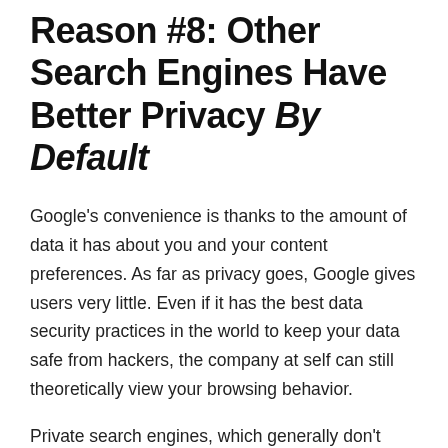Reason #8: Other Search Engines Have Better Privacy By Default
Google's convenience is thanks to the amount of data it has about you and your content preferences. As far as privacy goes, Google gives users very little. Even if it has the best data security practices in the world to keep your data safe from hackers, the company at self can still theoretically view your browsing behavior.
Private search engines, which generally don't track any data about you and your searches are better for anyone concerned with privacy. StartPage and Search Encrypt are two examples of private search engines that will help minimize tracking from your search engine. Neither of